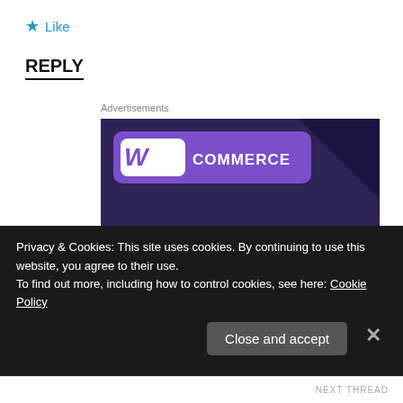★ Like
REPLY
Advertisements
[Figure (illustration): WooCommerce advertisement banner with dark purple background, purple card with WooCommerce logo, teal green triangle shape, cyan blue circle, and text 'Turn your hobby into a business in 8 steps']
Privacy & Cookies: This site uses cookies. By continuing to use this website, you agree to their use.
To find out more, including how to control cookies, see here: Cookie Policy
Close and accept